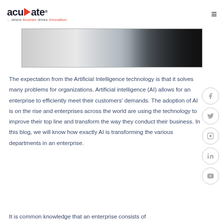acuvate ... where Acumen drives Innovation
[Figure (photo): Banner/hero image with a light to dark gradient, appears to be a technology or AI themed image with dark right portion]
The expectation from the Artificial Intelligence technology is that it solves many problems for organizations. Artificial intelligence (AI) allows for an enterprise to efficiently meet their customers' demands. The adoption of AI is on the rise and enterprises across the world are using the technology to improve their top line and transform the way they conduct their business. In this blog, we will know how exactly AI is transforming the various departments in an enterprise.
It is common knowledge that an enterprise consists of